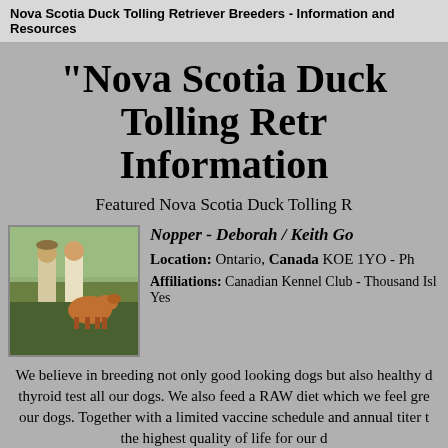Nova Scotia Duck Tolling Retriever Breeders - Information and Resources
"Nova Scotia Duck Tolling Retr... Information...
Featured Nova Scotia Duck Tolling R...
Nopper - Deborah / Keith Go...
[Figure (photo): Two people standing with a Nova Scotia Duck Tolling Retriever dog outdoors at what appears to be a dog show.]
Location: Ontario, Canada KOE 1YO  -  Ph...
Affiliations: Canadian Kennel Club - Thousand Isl... Yes
We believe in breeding not only good looking dogs but also healthy... thyroid test all our dogs. We also feed a RAW diet which we feel gr... our dogs. Together with a limited vaccine schedule and annual titer t... the highest quality of life for our d...
We take breeding very seriously and carefully match potential new ... We feel totally responsible for these little lives and unless we feel th... provide, they stay with us...